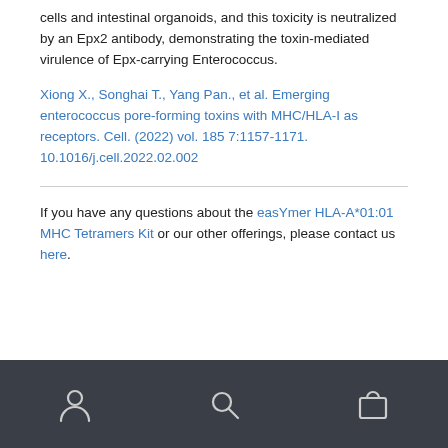cells and intestinal organoids, and this toxicity is neutralized by an Epx2 antibody, demonstrating the toxin-mediated virulence of Epx-carrying Enterococcus.
Xiong X., Songhai T., Yang Pan., et al. Emerging enterococcus pore-forming toxins with MHC/HLA-I as receptors. Cell. (2022) vol. 185 7:1157-1171. 10.1016/j.cell.2022.02.002
If you have any questions about the easYmer HLA-A*01:01 MHC Tetramers Kit or our other offerings, please contact us here.
Footer navigation bar with account, search, and cart icons